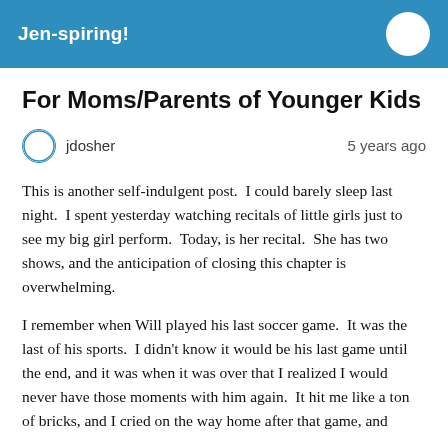Jen-spiring!
For Moms/Parents of Younger Kids
jdosher   5 years ago
This is another self-indulgent post.  I could barely sleep last night.  I spent yesterday watching recitals of little girls just to see my big girl perform.  Today, is her recital.  She has two shows, and the anticipation of closing this chapter is overwhelming.
I remember when Will played his last soccer game.  It was the last of his sports.  I didn't know it would be his last game until the end, and it was when it was over that I realized I would never have those moments with him again.  It hit me like a ton of bricks, and I cried on the way home after that game, and